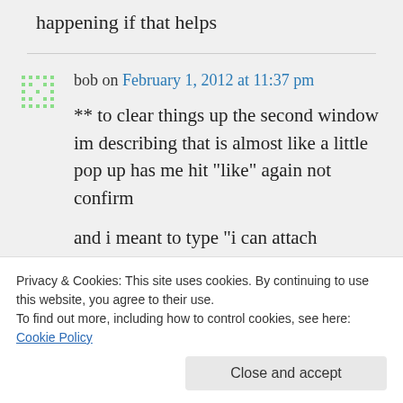happening if that helps
bob on February 1, 2012 at 11:37 pm
** to clear things up the second window im describing that is almost like a little pop up has me hit “like” again not confirm

and i meant to type “i can attach
Privacy & Cookies: This site uses cookies. By continuing to use this website, you agree to their use.
To find out more, including how to control cookies, see here: Cookie Policy
Close and accept
11:40 pm